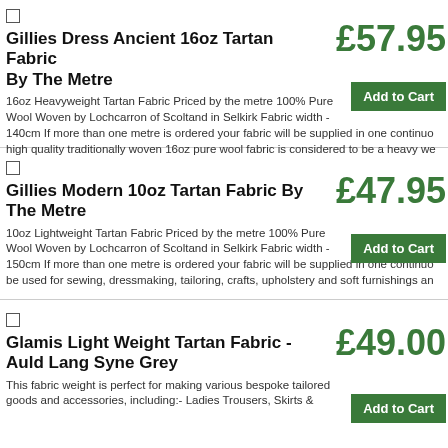Gillies Dress Ancient 16oz Tartan Fabric By The Metre — £57.95 — 16oz Heavyweight Tartan Fabric Priced by the metre 100% Pure Wool Woven by Lochcarron of Scoltand in Selkirk Fabric width - 140cm If more than one metre is ordered your fabric will be supplied in one continuo high quality traditionally woven 16oz pure wool fabric is considered to be a heavy we
Gillies Modern 10oz Tartan Fabric By The Metre — £47.95 — 10oz Lightweight Tartan Fabric Priced by the metre 100% Pure Wool Woven by Lochcarron of Scoltand in Selkirk Fabric width - 150cm If more than one metre is ordered your fabric will be supplied in one continuo be used for sewing, dressmaking, tailoring, crafts, upholstery and soft furnishings an
Glamis Light Weight Tartan Fabric - Auld Lang Syne Grey — £49.00 — This fabric weight is perfect for making various bespoke tailored goods and accessories, including:- Ladies Trousers, Skirts &